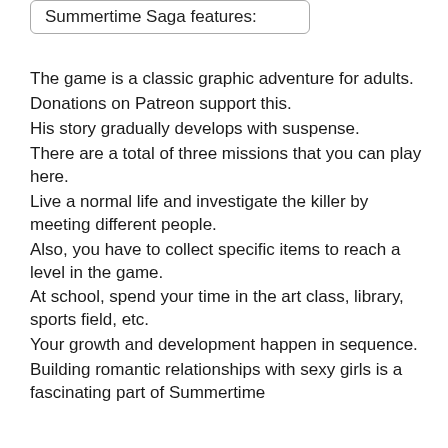Summertime Saga features:
The game is a classic graphic adventure for adults.
Donations on Patreon support this.
His story gradually develops with suspense.
There are a total of three missions that you can play here.
Live a normal life and investigate the killer by meeting different people.
Also, you have to collect specific items to reach a level in the game.
At school, spend your time in the art class, library, sports field, etc.
Your growth and development happen in sequence.
Building romantic relationships with sexy girls is a fascinating part of Summertime